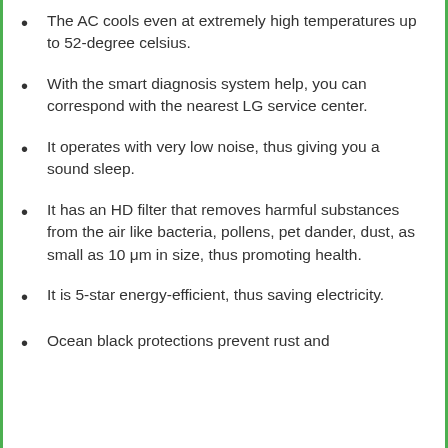The AC cools even at extremely high temperatures up to 52-degree celsius.
With the smart diagnosis system help, you can correspond with the nearest LG service center.
It operates with very low noise, thus giving you a sound sleep.
It has an HD filter that removes harmful substances from the air like bacteria, pollens, pet dander, dust, as small as 10 μm in size, thus promoting health.
It is 5-star energy-efficient, thus saving electricity.
Ocean black protections prevent rust and